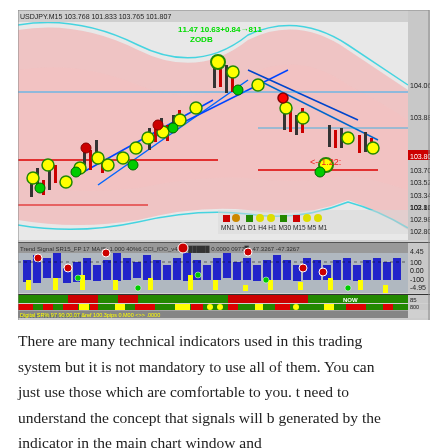[Figure (screenshot): A complex multi-indicator forex trading chart for USDJPY M15, showing price action with Bollinger Bands (pink), multiple trend lines, candlesticks, yellow and green circle signal markers, a CCI oscillator panel below, and colored indicator bars at the bottom. Time range: 4 Oct 2016 to 7 Oct 08:30. Price range approximately 102.625 to 104.066.]
There are many technical indicators used in this trading system but it is not mandatory to use all of them. You can just use those which are comfortable to you. t need to understand the concept that signals will b generated by the indicator in the main chart window and